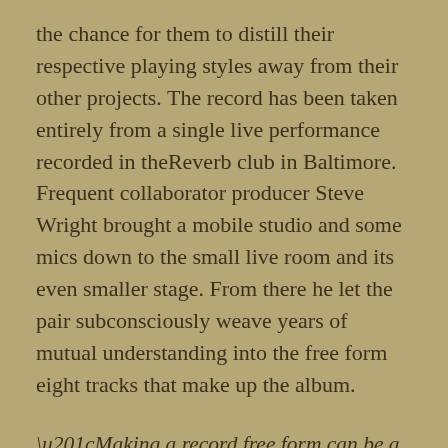the chance for them to distill their respective playing styles away from their other projects. The record has been taken entirely from a single live performance recorded in theReverb club in Baltimore. Frequent collaborator producer Steve Wright brought a mobile studio and some mics down to the small live room and its even smaller stage. From there he let the pair subconsciously weave years of mutual understanding into the free form eight tracks that make up the album.
“Making a record free form can be a little risky. It’s not guaranteed that the creative forces that are summoned will show up,” say the duo. “But when they do, it can be one of the most fulfilling aspects